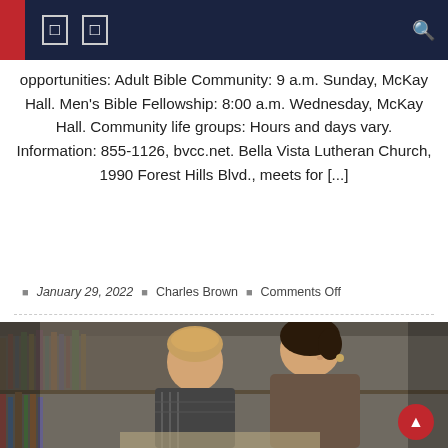Navigation header with icons and search
opportunities: Adult Bible Community: 9 a.m. Sunday, McKay Hall. Men's Bible Fellowship: 8:00 a.m. Wednesday, McKay Hall. Community life groups: Hours and days vary. Information: 855-1126, bvcc.net. Bella Vista Lutheran Church, 1990 Forest Hills Blvd., meets for [...]
January 29, 2022  Charles Brown  Comments Off
[Figure (photo): A woman and a young boy reading together in a library with bookshelves in the background]